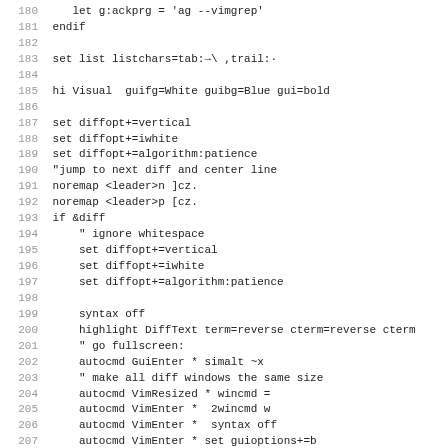Code listing lines 180-211, vim configuration script
180     let g:ackprg = 'ag --vimgrep'
181 endif
182
183 set list listchars=tab:→\ ,trail:·
184
185 hi Visual  guifg=White guibg=Blue gui=bold
186
187 set diffopt+=vertical
188 set diffopt+=iwhite
189 set diffopt+=algorithm:patience
190 "jump to next diff and center line
191 noremap <leader>n ]cz.
192 noremap <leader>p [cz.
193 if &diff
194     " ignore whitespace
195     set diffopt+=vertical
196     set diffopt+=iwhite
197     set diffopt+=algorithm:patience
198
199     syntax off
200     highlight DiffText term=reverse cterm=reverse cterm
201     " go fullscreen:
202     autocmd GuiEnter * simalt ~x
203     " make all diff windows the same size
204     autocmd VimResized * wincmd =
205     autocmd VimEnter *  2wincmd w
206     autocmd VimEnter *  syntax off
207     autocmd VimEnter * set guioptions+=b
208     set relativenumber!
209     set guifont=DejaVu_Sans_Mono:h10:cANSI:qDRAFT
210     set number
211 else